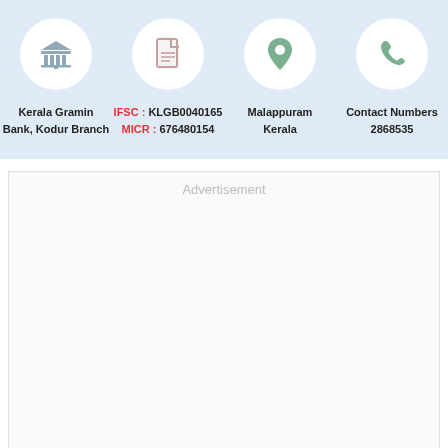[Figure (infographic): Four circular icons on light blue background: bank/institution icon, document icon, location pin icon, phone icon]
Kerala Gramin Bank, Kodur Branch
IFSC : KLGB0040165
MICR : 676480154
Malappuram
Kerala
Contact Numbers
2868535
Advertisement